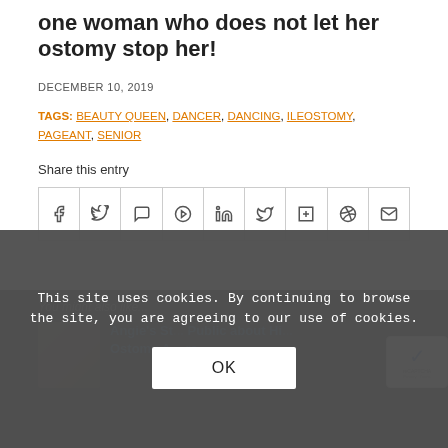one woman who does not let her ostomy stop her!
DECEMBER 10, 2019
TAGS: BEAUTY QUEEN, DANCER, DANCING, ILEOSTOMY, PAGEANT, SENIOR
Share this entry
[Figure (other): Row of social share icon buttons: Facebook, Twitter, WhatsApp, Pinterest, LinkedIn, Tumblr, VK, Reddit, Email]
You might also like...
[Figure (photo): Thumbnail photo of a woman]
Angie's St... Public about Hi... Ostomy A... rs
This site uses cookies. By continuing to browse the site, you are agreeing to our use of cookies.
OK